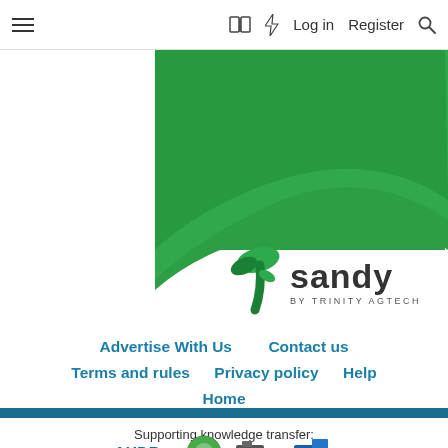☰   🔖  ⚡  Log in   Register  🔍
[Figure (illustration): Sandy by Trinity AgTech banner — green gradient background with a white swooping curve at the bottom right. A green leaf-shaped T logo followed by the word 'sandy' in dark gray, with 'BY TRINITY AGTECH' in small caps beneath it.]
Advertise With Us   Contact us   Terms and rules   Privacy policy   Help   Home
Supporting knowledge transfer:
[Figure (logo): Row of partner logos: AHDB and others]